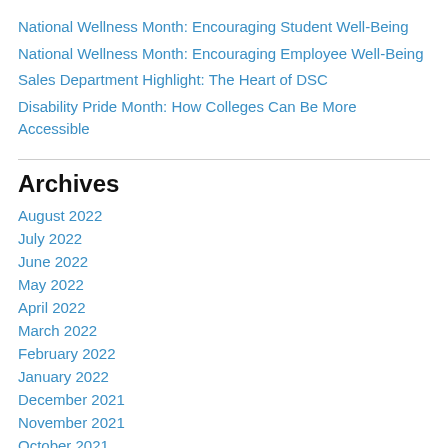National Wellness Month: Encouraging Student Well-Being
National Wellness Month: Encouraging Employee Well-Being
Sales Department Highlight: The Heart of DSC
Disability Pride Month: How Colleges Can Be More Accessible
Archives
August 2022
July 2022
June 2022
May 2022
April 2022
March 2022
February 2022
January 2022
December 2021
November 2021
October 2021
September 2021